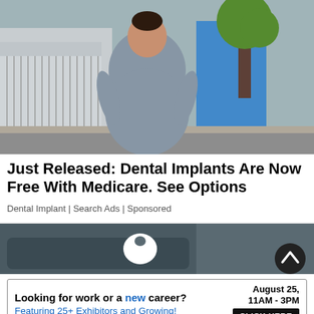[Figure (photo): Woman in gray fitted dress smiling on a city sidewalk, with a fence, trees, and street in background]
Just Released: Dental Implants Are Now Free With Medicare. See Options
Dental Implant | Search Ads | Sponsored
[Figure (photo): Partial view of car and Apple logo on dark background, scroll-to-top button visible]
Looking for work or a new career? August 25, 11AM - 3PM Featuring 25+ Exhibitors and Growing! CLICK HERE